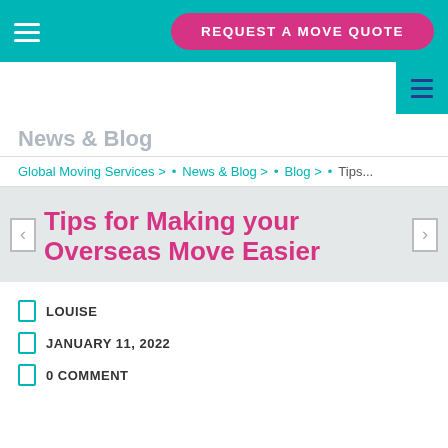REQUEST A MOVE QUOTE
News & Blog
Global Moving Services > • News & Blog > • Blog > • Tips...
Tips for Making your Overseas Move Easier
LOUISE
JANUARY 11, 2022
0 COMMENT